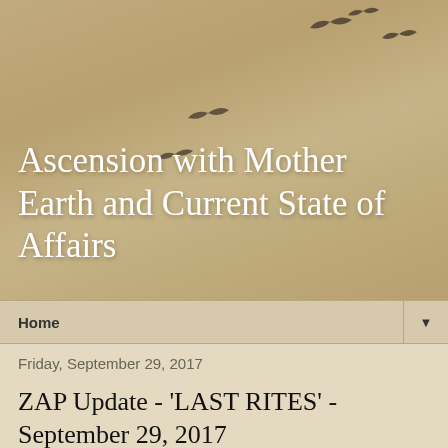Ascension with Mother Earth and Current State of Affairs
Home
Friday, September 29, 2017
ZAP Update - 'LAST RITES' - September 29, 2017
Received via email from "The Office of Poofness"
Zap Says
HI ALL,